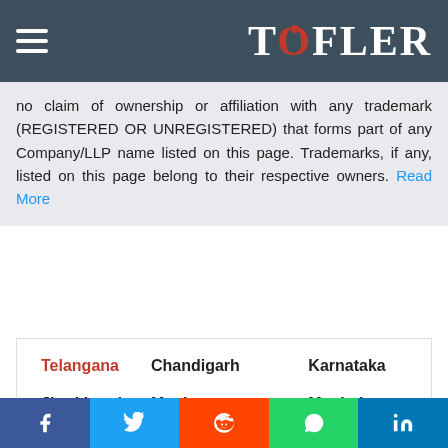TOFLER
no claim of ownership or affiliation with any trademark (REGISTERED OR UNREGISTERED) that forms part of any Company/LLP name listed on this page. Trademarks, if any, listed on this page belong to their respective owners. Read More
| Telangana | Chandigarh | Karnataka |
| Jharkhand | Manipur | Meghalaya |
| Delhi | Pondicherry | Tamil Nadu |
| Assam | Blog Categories |  |
f  Twitter  Reddit  WhatsApp  in